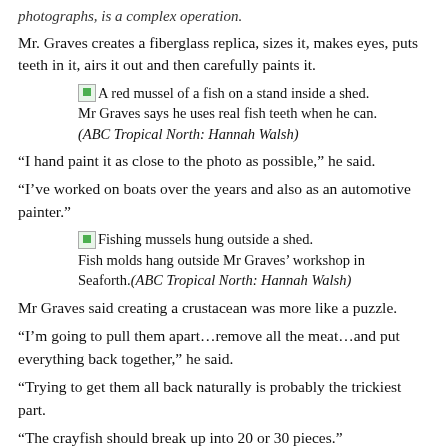photographs, is a complex operation.
Mr. Graves creates a fiberglass replica, sizes it, makes eyes, puts teeth in it, airs it out and then carefully paints it.
A red mussel of a fish on a stand inside a shed. Mr Graves says he uses real fish teeth when he can. (ABC Tropical North: Hannah Walsh)
“I hand paint it as close to the photo as possible,” he said.
“I’ve worked on boats over the years and also as an automotive painter.”
Fishing mussels hung outside a shed. Fish molds hang outside Mr Graves’ workshop in Seaforth.(ABC Tropical North: Hannah Walsh)
Mr Graves said creating a crustacean was more like a puzzle.
“I’m going to pull them apart…remove all the meat…and put everything back together,” he said.
“Trying to get them all back naturally is probably the trickiest part.
“The crayfish should break up into 20 or 30 pieces.”